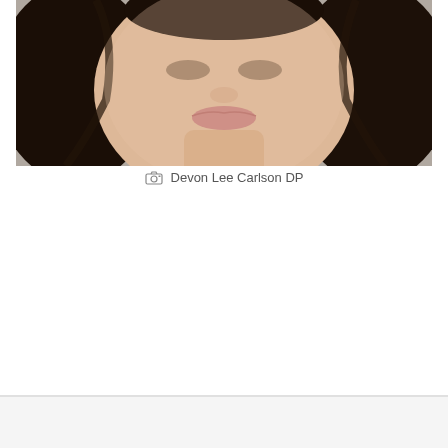[Figure (photo): Close-up portrait photo of a young woman with long dark hair, light skin, and natural makeup, photographed from chin/neck up. Gray background.]
Devon Lee Carlson DP